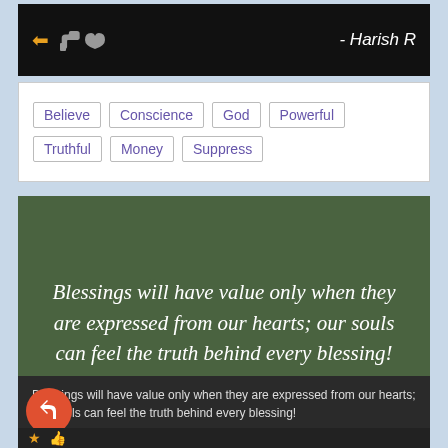- Harish R
Believe  Conscience  God  Powerful  Truthful  Money  Suppress
[Figure (illustration): Dark olive green card with large italic serif white text: 'Blessings will have value only when they are expressed from our hearts; our souls can feel the truth behind every blessing!']
Blessings will have value only when they are expressed from our hearts; our souls can feel the truth behind every blessing!